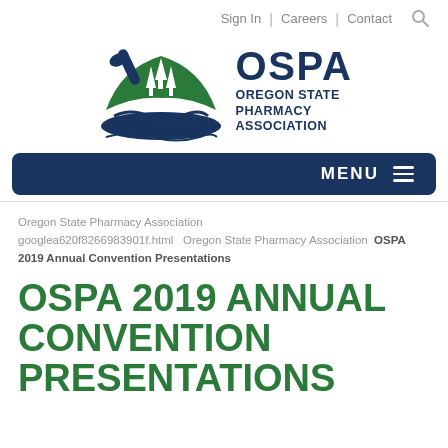Sign In | Careers | Contact
[Figure (logo): Oregon State Pharmacy Association (OSPA) logo — a mortar and pestle with mountain and trees in green and dark blue, with the text OSPA and Oregon State Pharmacy Association.]
MENU
Oregon State Pharmacy Association googlea620f8266983901f.html Oregon State Pharmacy Association OSPA 2019 Annual Convention Presentations
OSPA 2019 ANNUAL CONVENTION PRESENTATIONS